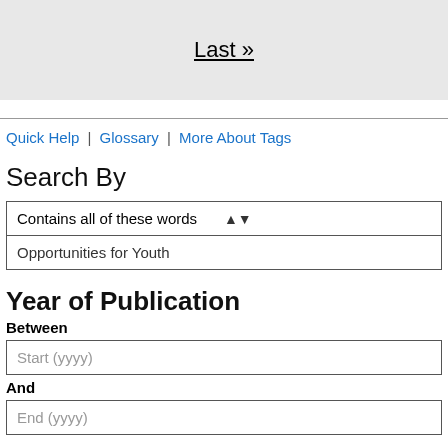Last »
Quick Help | Glossary | More About Tags
Search By
| Contains all of these words |
| Opportunities for Youth |
Year of Publication
Between
Start (yyyy)
And
End (yyyy)